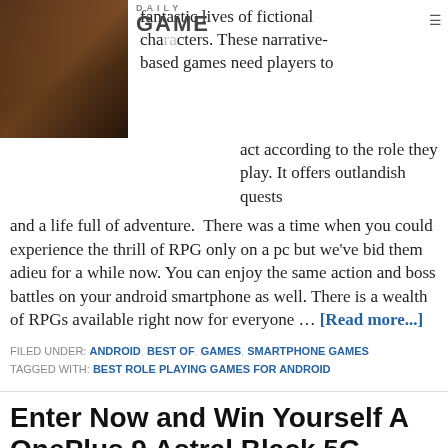[Figure (photo): A person in a crowd or event scene, dark warm tones]
fantastic lives of fictional characters. These narrative-based games need players to act according to the role they play. It offers outlandish quests and a life full of adventure. There was a time when you could experience the thrill of RPG only on a pc but we've bid them adieu for a while now. You can enjoy the same action and boss battles on your android smartphone as well. There is a wealth of RPGs available right now for everyone … [Read more...]
FILED UNDER: ANDROID, BEST OF, GAMES, SMARTPHONE GAMES
TAGGED WITH: BEST ROLE PLAYING GAMES FOR ANDROID
Enter Now and Win Yourself A OnePlus 9 Astral Black 5G Unlocked Android Phone
MAY 1, 2021 BY SARA — 0 COMMENTS